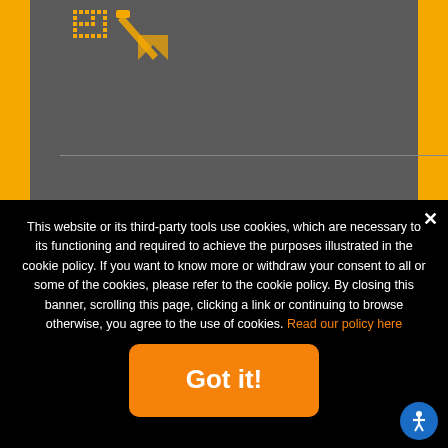[Figure (screenshot): Website screenshot showing orange and dark grey layout with a logo/icon in the upper left area containing orange pixelated design elements on dark grey background with yellow side borders]
This website or its third-party tools use cookies, which are necessary to its functioning and required to achieve the purposes illustrated in the cookie policy. If you want to know more or withdraw your consent to all or some of the cookies, please refer to the cookie policy. By closing this banner, scrolling this page, clicking a link or continuing to browse otherwise, you agree to the use of cookies. Read our policy here
Got it!